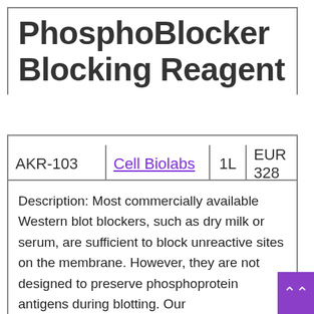PhosphoBlocker Blocking Reagent
| SKU | Brand | Volume | Price |
| --- | --- | --- | --- |
| AKR-103 | Cell Biolabs | 1L | EUR 328 |
Description: Most commercially available Western blot blockers, such as dry milk or serum, are sufficient to block unreactive sites on the membrane. However, they are not designed to preserve phosphoprotein antigens during blotting. Our PhosphoBLOCKER Blocking Reagent provides superior blocking by maximizing signal-to-noise ratio. The PhosphoBLOCKER reagent particluarly excels with very low levels of endogenous phopsphoproteins.